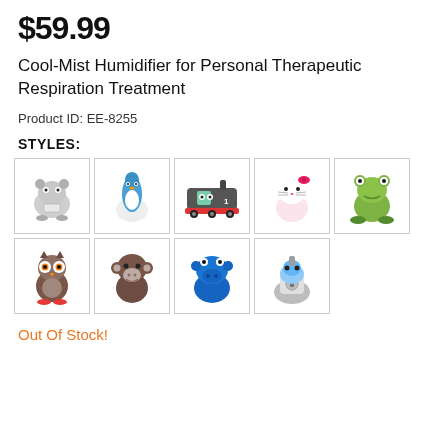$59.99
Cool-Mist Humidifier for Personal Therapeutic Respiration Treatment
Product ID: EE-8255
STYLES:
[Figure (photo): Grid of 9 animal/character-shaped cool-mist humidifiers: row 1 - hippo/dog, penguin/blue mist, Thomas the train, Hello Kitty, green frog; row 2 - owl, monkey, blue hippo, gray mushroom-style]
Out Of Stock!